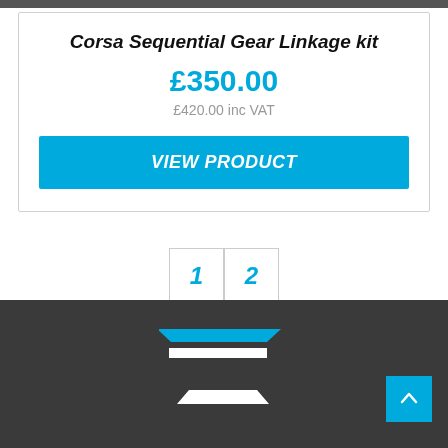[Figure (photo): Dark photo strip at top of page]
Corsa Sequential Gear Linkage kit
£350.00
£420.00 inc VAT
VIEW PRODUCT
1  2
[Figure (logo): Brand logo on dark grey footer background, stylized F-shaped icon in blue and white]